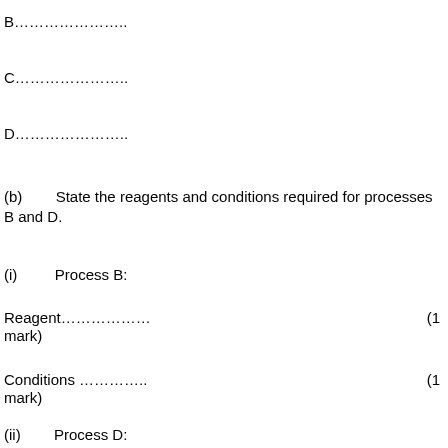B………………..
C………………..
D………………..
(b)      State the reagents and conditions required for processes B and D.
(i)       Process B:
Reagent……………… (1 mark)
Conditions ………… (1 mark)
(ii)      Process D: